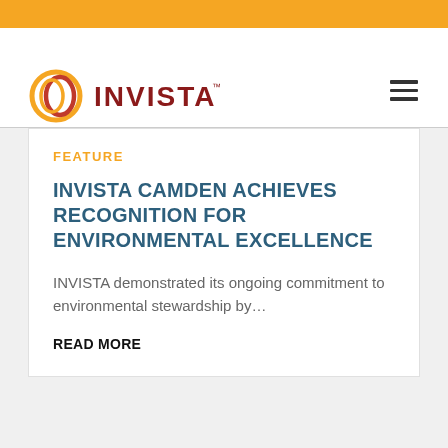[Figure (logo): INVISTA logo with orange circular icon and dark red INVISTA text with TM mark]
INVISTA CAMDEN ACHIEVES RECOGNITION FOR ENVIRONMENTAL EXCELLENCE
FEATURE
INVISTA demonstrated its ongoing commitment to environmental stewardship by…
READ MORE